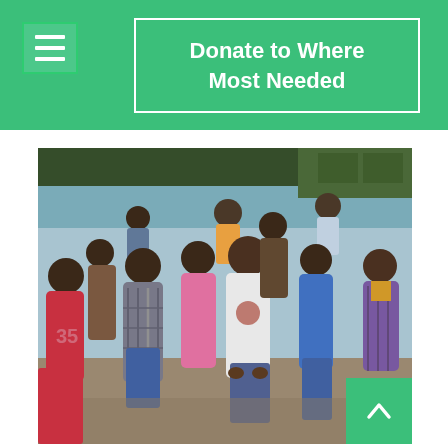Donate to Where Most Needed
[Figure (photo): Group photo of approximately 12-15 children standing together outdoors against a light blue wall, wearing colorful winter clothes including hoodies and jackets. The children appear to be of school age, photographed in what looks like a schoolyard or community center setting in India.]